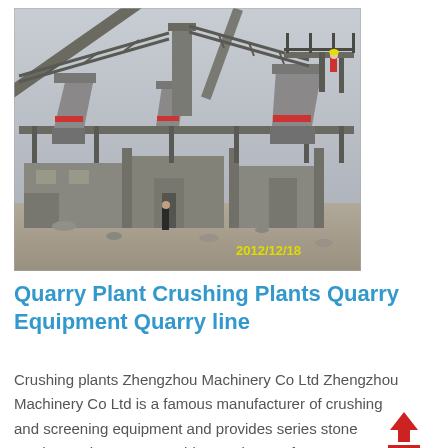[Figure (photo): Outdoor quarry crushing plant facility with multiple cone crushers, conveyor belts on elevated steel structures, concrete building foundations, and a worker in red visible on an upper platform. Date stamp 2012/12/18 in yellow text at bottom right of photo.]
Quarry Plant Crushing Plants Quarry Equipment Quarry line
Crushing plants Zhengzhou Machinery Co Ltd Zhengzhou Machinery Co Ltd is a famous manufacturer of crushing and screening equipment and provides series stone crusher and crushing equipment for customers which includes hydraulic cone